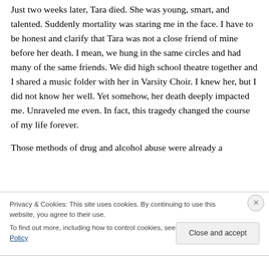Just two weeks later, Tara died. She was young, smart, and talented. Suddenly mortality was staring me in the face. I have to be honest and clarify that Tara was not a close friend of mine before her death. I mean, we hung in the same circles and had many of the same friends. We did high school theatre together and I shared a music folder with her in Varsity Choir. I knew her, but I did not know her well. Yet somehow, her death deeply impacted me. Unraveled me even. In fact, this tragedy changed the course of my life forever.
Those methods of drug and alcohol abuse were already a
Privacy & Cookies: This site uses cookies. By continuing to use this website, you agree to their use.
To find out more, including how to control cookies, see here: Cookie Policy